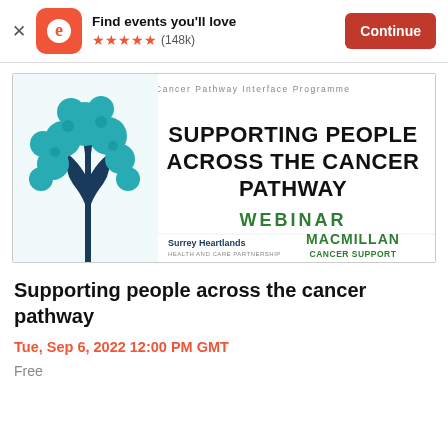Find events you'll love ★★★★★ (148k)  Continue
[Figure (illustration): Macmillan Cancer Pathway Interface Programme webinar banner showing a teal tree illustration on the left, text 'SUPPORTING PEOPLE ACROSS THE CANCER PATHWAY' in bold black, 'WEBINAR' in green, Surrey Heartlands Health and Care Partnership logo bottom-left, Macmillan Cancer Support logo bottom-right.]
Supporting people across the cancer pathway
Tue, Sep 6, 2022 12:00 PM GMT
Free